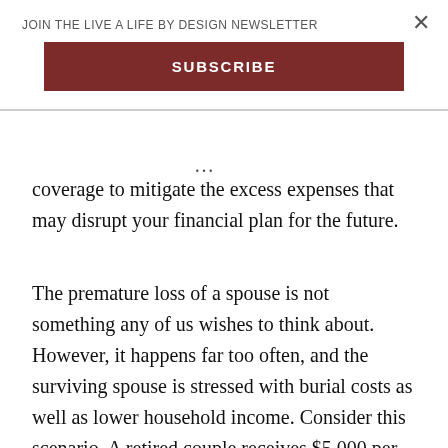JOIN THE LIVE A LIFE BY DESIGN NEWSLETTER
SUBSCRIBE
coverage to mitigate the excess expenses that may disrupt your financial plan for the future.
The premature loss of a spouse is not something any of us wishes to think about. However, it happens far too often, and the surviving spouse is stressed with burial costs as well as lower household income. Consider this scenario. A retired couple receives $5,000 per month of Social Security Benefits. One of the couple suddenly expires due to a heart attack. The surviving spouse needs $5,000 per month for the